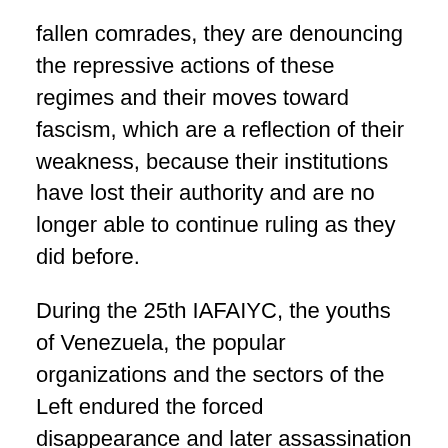fallen comrades, they are denouncing the repressive actions of these regimes and their moves toward fascism, which are a reflection of their weakness, because their institutions have lost their authority and are no longer able to continue ruling as they did before.
During the 25th IAFAIYC, the youths of Venezuela, the popular organizations and the sectors of the Left endured the forced disappearance and later assassination of comrade Julio Blanco, who attended and was one of the organizers of the 23rd International Camp held in that country in 2012.
For our comrades fallen in the midst of struggle, who together with us and thousands more men and women dreamed of a different world, in which we would all be truly free, we raise our voices and our fists demanding justice